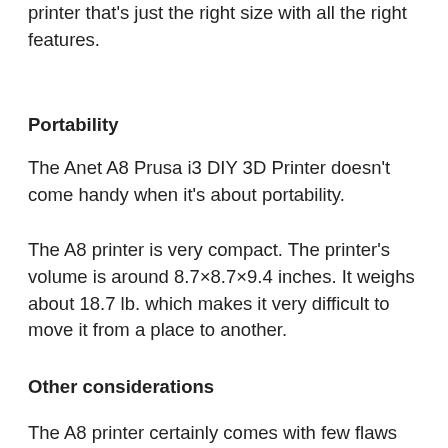printer that's just the right size with all the right features.
Portability
The Anet A8 Prusa i3 DIY 3D Printer doesn't come handy when it's about portability.
The A8 printer is very compact. The printer's volume is around 8.7×8.7×9.4 inches. It weighs about 18.7 lb. which makes it very difficult to move it from a place to another.
Other considerations
The A8 printer certainly comes with few flaws